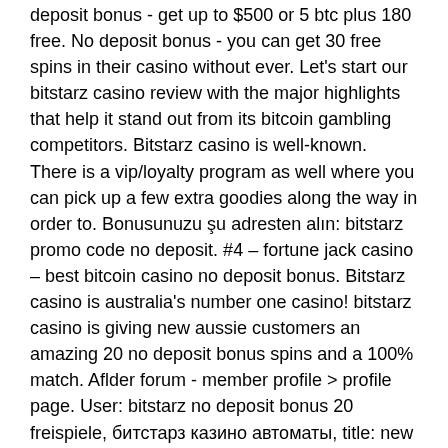deposit bonus - get up to $500 or 5 btc plus 180 free. No deposit bonus - you can get 30 free spins in their casino without ever. Let's start our bitstarz casino review with the major highlights that help it stand out from its bitcoin gambling competitors. Bitstarz casino is well-known. There is a vip/loyalty program as well where you can pick up a few extra goodies along the way in order to. Bonusunuzu şu adresten alın: bitstarz promo code no deposit. #4 – fortune jack casino – best bitcoin casino no deposit bonus. Bitstarz casino is australia's number one casino! bitstarz casino is giving new aussie customers an amazing 20 no deposit bonus spins and a 100% match. Aflder forum - member profile &gt; profile page. User: bitstarz no deposit bonus 20 freispiele, битстарз казино автоматы, title: new member, about: bitstarz no  Hub or Coinbase60 Minutes70,000 satoshisThere are two faucets ( Earn >